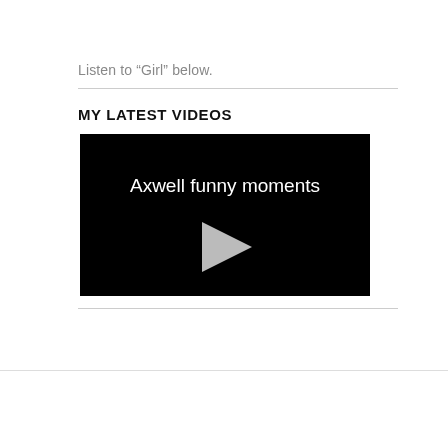Listen to “Girl” below.
MY LATEST VIDEOS
[Figure (screenshot): Video thumbnail showing black background with text 'Axwell funny moments' and a play button triangle in the center]